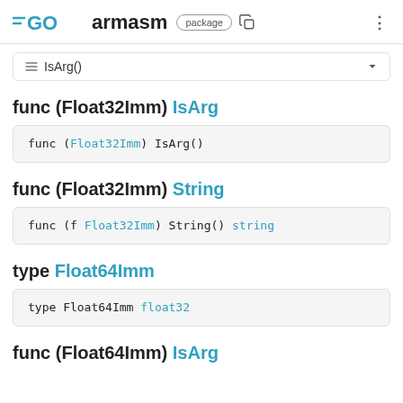GO armasm package
IsArg()
func (Float32Imm) IsArg
func (Float32Imm) IsArg()
func (Float32Imm) String
func (f Float32Imm) String() string
type Float64Imm
type Float64Imm float32
func (Float64Imm) IsArg